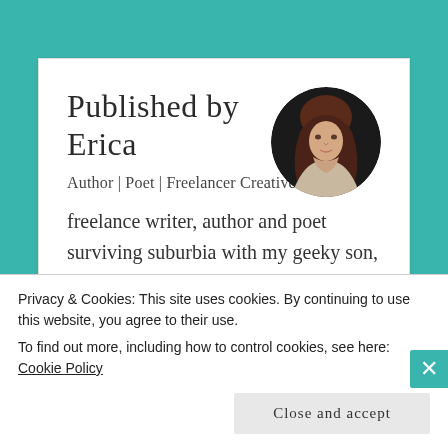Published by Erica
Author | Poet | Freelancer Creative freelance writer, author and poet surviving suburbia with my geeky son, superhero princess, crazy dogs, and an ornery bunny.
EricaMarchant.com
Facebook.com/ericamarchant
twitter.com/ericaLmarchant
[Figure (photo): Circular portrait photo of Erica, a woman with long red-brown hair, against a dark background]
Privacy & Cookies: This site uses cookies. By continuing to use this website, you agree to their use.
To find out more, including how to control cookies, see here: Cookie Policy
Close and accept